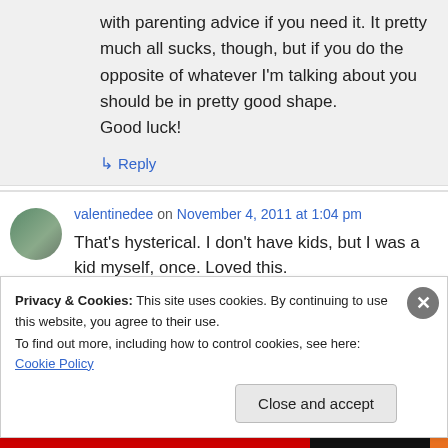with parenting advice if you need it. It pretty much all sucks, though, but if you do the opposite of whatever I'm talking about you should be in pretty good shape.
Good luck!
↳ Reply
valentinedee on November 4, 2011 at 1:04 pm
That's hysterical. I don't have kids, but I was a kid myself, once. Loved this.
Privacy & Cookies: This site uses cookies. By continuing to use this website, you agree to their use.
To find out more, including how to control cookies, see here: Cookie Policy
Close and accept